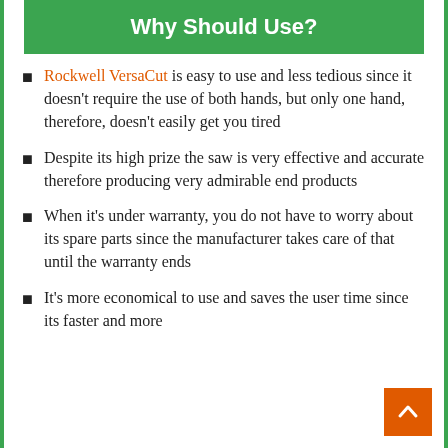Why Should Use?
Rockwell VersaCut is easy to use and less tedious since it doesn't require the use of both hands, but only one hand, therefore, doesn't easily get you tired
Despite its high prize the saw is very effective and accurate therefore producing very admirable end products
When it's under warranty, you do not have to worry about its spare parts since the manufacturer takes care of that until the warranty ends
It's more economical to use and saves the user time since its faster and more